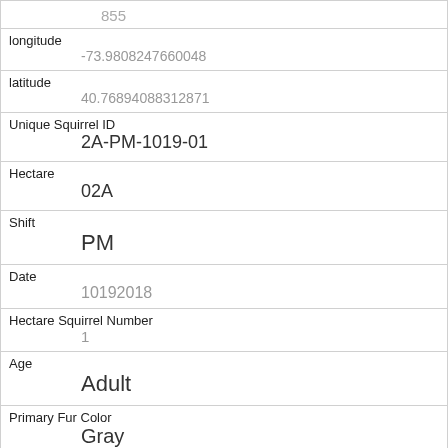| Field | Value |
| --- | --- |
|  | 855 |
| longitude | -73.9808247660048 |
| latitude | 40.76894088312871 |
| Unique Squirrel ID | 2A-PM-1019-01 |
| Hectare | 02A |
| Shift | PM |
| Date | 10192018 |
| Hectare Squirrel Number | 1 |
| Age | Adult |
| Primary Fur Color | Gray |
| Highlight Fur Color | White |